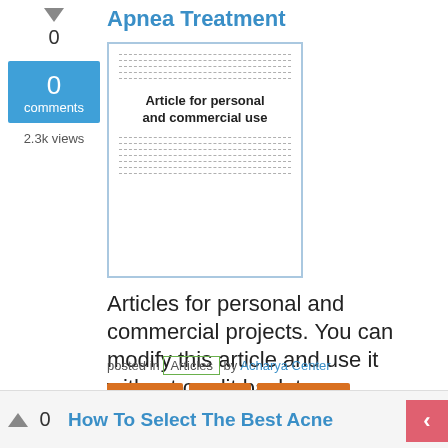Apnea Treatment
[Figure (illustration): Thumbnail of an article document with dashed lines representing text and a center label reading 'Article for personal and commercial use']
Articles for personal and commercial projects. You can modify this article and use it without credit back to us.
posted in Articles by Acharya Center
Medicine
Health
Buy-Articles
How To Select The Best Acne